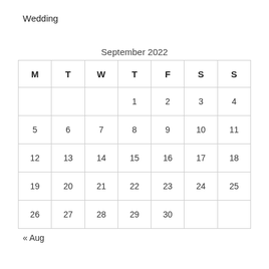Wedding
September 2022
| M | T | W | T | F | S | S |
| --- | --- | --- | --- | --- | --- | --- |
|  |  |  | 1 | 2 | 3 | 4 |
| 5 | 6 | 7 | 8 | 9 | 10 | 11 |
| 12 | 13 | 14 | 15 | 16 | 17 | 18 |
| 19 | 20 | 21 | 22 | 23 | 24 | 25 |
| 26 | 27 | 28 | 29 | 30 |  |  |
« Aug